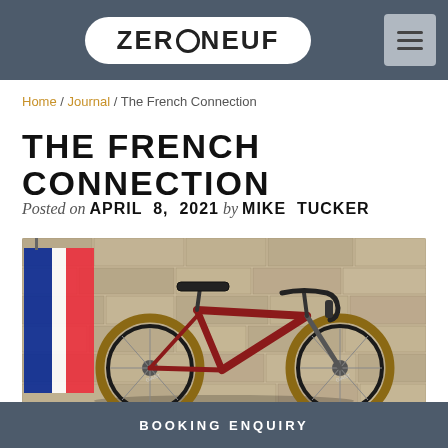ZERONEUF
Home / Journal / The French Connection
THE FRENCH CONNECTION
Posted on APRIL 8, 2021 by MIKE TUCKER
[Figure (photo): A red road bicycle leaning against a rough stone wall with a French flag visible on the left side. The bike has a dark saddle, drop handlebars with dark brake/shift levers, and tan-walled tires with Giant branding.]
BOOKING ENQUIRY